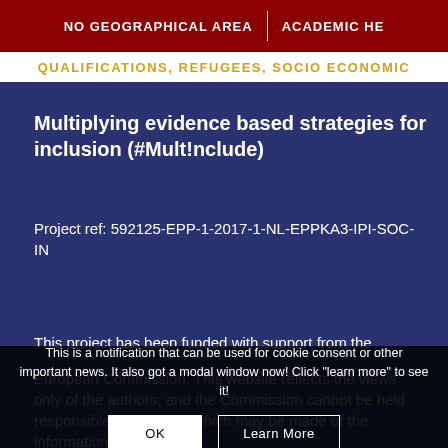NO GEOGRAPHICAL AREA | ACADEMIC HE
QUALIFICATIONS, REFUGEES, SOCIO ECONOMIC
Multiplying evidence based strategies for inclusion (#Mult!nclude)
Project ref: 592125-EPP-1-2017-1-NL-EPPKA3-IPI-SOC-IN
This project has been funded with support from the
European Commission. This website reflects the views only of the authors, and the Commission cannot be held responsible for any use which may be made of the information co...
This is a notification that can be used for cookie consent or other important news. It also got a modal window now! Click "learn more" to see it!